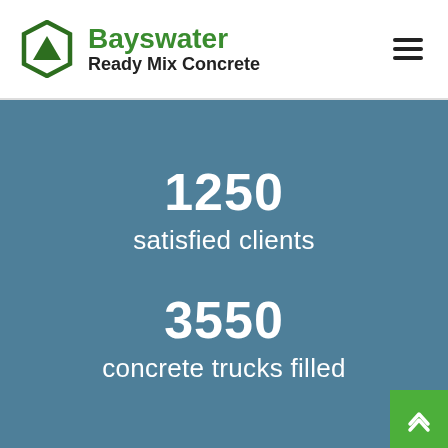[Figure (logo): Bayswater Ready Mix Concrete company logo with hexagon/shield shape containing a triangle, in dark green, with company name in green and black text]
1250
satisfied clients
3550
concrete trucks filled